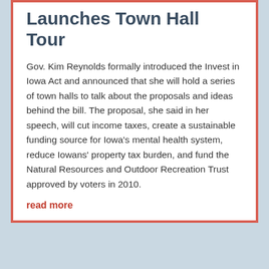Launches Town Hall Tour
Gov. Kim Reynolds formally introduced the Invest in Iowa Act and announced that she will hold a series of town halls to talk about the proposals and ideas behind the bill. The proposal, she said in her speech, will cut income taxes, create a sustainable funding source for Iowa's mental health system, reduce Iowans' property tax burden, and fund the Natural Resources and Outdoor Recreation Trust approved by voters in 2010.
read more
Economist: Iowa Needs New Policies to Save